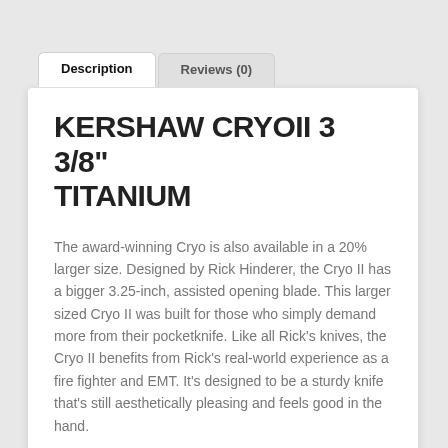Description
Reviews (0)
KERSHAW CRYOII 3 3/8" TITANIUM
The award-winning Cryo is also available in a 20% larger size. Designed by Rick Hinderer, the Cryo II has a bigger 3.25-inch, assisted opening blade. This larger sized Cryo II was built for those who simply demand more from their pocketknife. Like all Rick's knives, the Cryo II benefits from Rick's real-world experience as a fire fighter and EMT. It's designed to be a sturdy knife that's still aesthetically pleasing and feels good in the hand.
Award-winning design in a larger size
RC-6PM ...